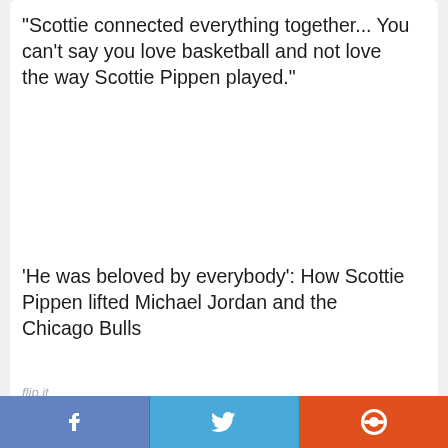"Scottie connected everything together... You can't say you love basketball and not love the way Scottie Pippen played."
'He was beloved by everybody': How Scottie Pippen lifted Michael Jordan and the Chicago Bulls
[Figure (photo): Scottie Pippen in a red Chicago Bulls jersey pointing at the camera, with a blurred crowd in the background]
flip.it | Facebook share | Twitter share | Reddit share